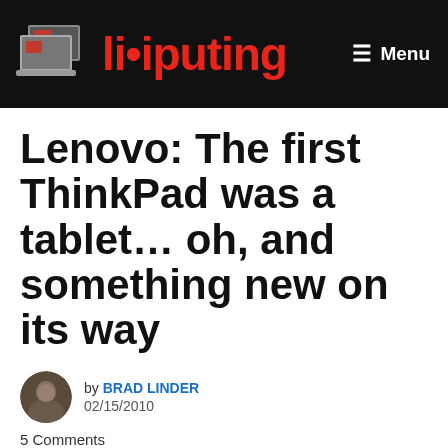Liliputing — Menu
Lenovo: The first ThinkPad was a tablet… oh, and something new on its way
by BRAD LINDER
02/15/2010
5 Comments
[Figure (other): Advertisement placeholder with close button]